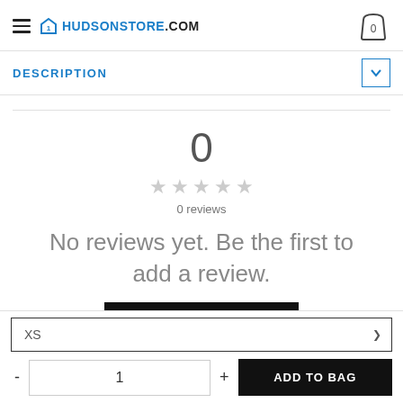HUDSONSTORE.COM
DESCRIPTION
0
0 reviews
No reviews yet. Be the first to add a review.
Write a Review
XS
1
ADD TO BAG